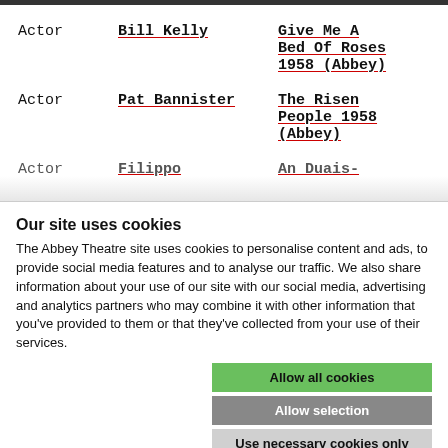Actor   Bill Kelly   Give Me A Bed Of Roses 1958 (Abbey)
Actor   Pat Bannister   The Risen People 1958 (Abbey)
Actor   Filippo   An Duais-
Our site uses cookies
The Abbey Theatre site uses cookies to personalise content and ads, to provide social media features and to analyse our traffic. We also share information about your use of our site with our social media, advertising and analytics partners who may combine it with other information that you've provided to them or that they've collected from your use of their services.
Allow all cookies
Allow selection
Use necessary cookies only
Necessary   Preferences   Statistics   Marketing   Show details